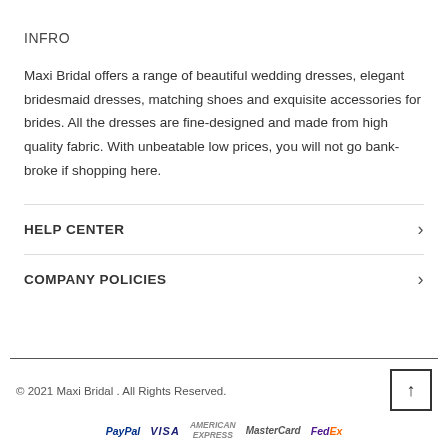INFRO
Maxi Bridal offers a range of beautiful wedding dresses, elegant bridesmaid dresses, matching shoes and exquisite accessories for brides. All the dresses are fine-designed and made from high quality fabric. With unbeatable low prices, you will not go bank-broke if shopping here.
HELP CENTER
COMPANY POLICIES
© 2021 Maxi Bridal . All Rights Reserved.
[Figure (logo): Payment and shipping logos: PayPal, VISA, American Express, MasterCard, FedEx]